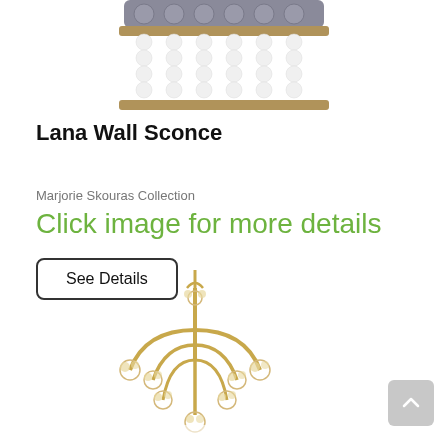[Figure (photo): Partial top view of a bead-decorated wall sconce with white spherical beads and grey tone accents on a brass/bronze frame.]
Lana Wall Sconce
Marjorie Skouras Collection
Click image for more details
See Details
[Figure (photo): A gold/brass chandelier with multiple curved arms ending in crystal-tipped bulb holders, suspended from a chain, shown from below, partially cropped.]